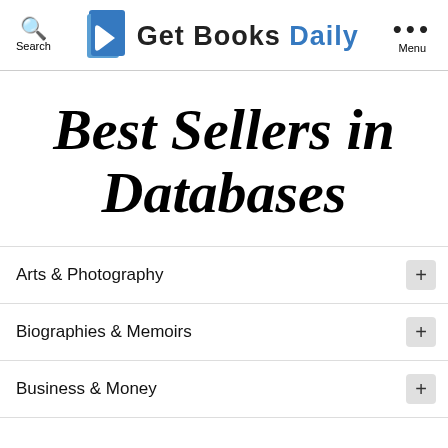Get Books Daily — Search | Menu
Best Sellers in Databases
Arts & Photography
Biographies & Memoirs
Business & Money